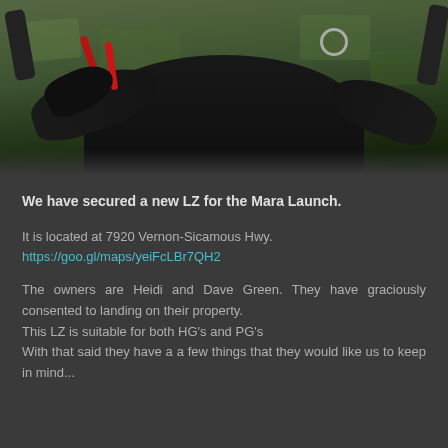[Figure (photo): Aerial paragliding/hang gliding photo taken from pilot's perspective, showing black gloves and harness with red straps against aerial view of green countryside fields below]
We have secured a new LZ for the Mara Launch.
It is located at 7920 Vernon-Sicamous Hwy.
https://goo.gl/maps/yeiFcLBr7QH2
The owners are Heidi and Dave Green. They have graciously consented to landing on their property.
This LZ is suitable for both HG's and PG's
With that said they have a a few things that they would like us to keep in mind...